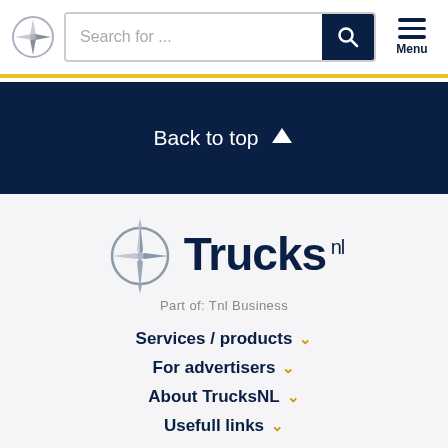Search for ...
Back to top ↑
[Figure (logo): TrucksNL logo with compass rose icon and text 'Trucks nl', tagline 'Part of: Tnl Business']
Part of: Tnl Business
Services / products ˅
For advertisers ˅
About TrucksNL ˅
Usefull links ˅
Legal ˅